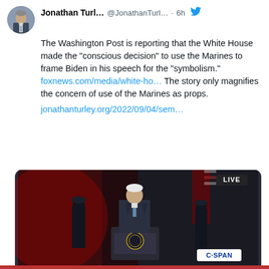[Figure (screenshot): Twitter/X profile avatar of Jonathan Turley showing a man in a suit]
Jonathan Turl... @JonathanTurl... · 6h
The Washington Post is reporting that the White House made the "conscious decision" to use the Marines to frame Biden in his speech for the "symbolism." foxnews.com/media/white-ho… The story only magnifies the concern of use of the Marines as props. jonathanturley.org/2022/09/04/sem…
[Figure (screenshot): C-SPAN video screenshot of President Biden speaking at a podium with dramatic red-lit background, Marines visible in background, LIVE badge top right, C-SPAN logo bottom right]
jonathanturley.org
Semper Sigh: Biden's Use of the Marines Violated Long-Standing Federal Policie…